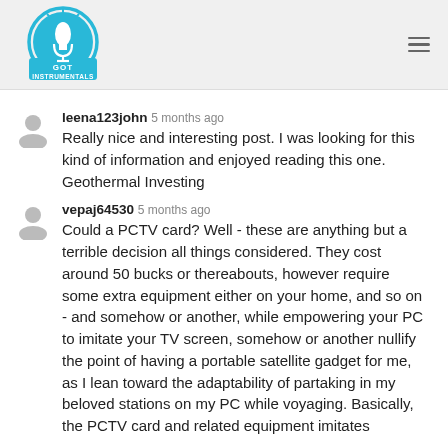Got Instrumentals logo and navigation
leena123john 5 months ago
Really nice and interesting post. I was looking for this kind of information and enjoyed reading this one. Geothermal Investing
vepaj64530 5 months ago
Could a PCTV card? Well - these are anything but a terrible decision all things considered. They cost around 50 bucks or thereabouts, however require some extra equipment either on your home, and so on - and somehow or another, while empowering your PC to imitate your TV screen, somehow or another nullify the point of having a portable satellite gadget for me, as I lean toward the adaptability of partaking in my beloved stations on my PC while voyaging. Basically, the PCTV card and related equipment imitates